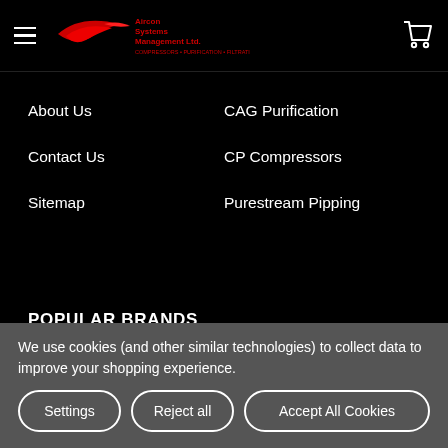Aircon Systems Management Ltd — Compressors, Purification, Filtration
About Us
CAG Purification
Contact Us
CP Compressors
Sitemap
Purestream Pipping
POPULAR BRANDS
CP Compressors
Aircon
CAG Purification
View All
We use cookies (and other similar technologies) to collect data to improve your shopping experience.